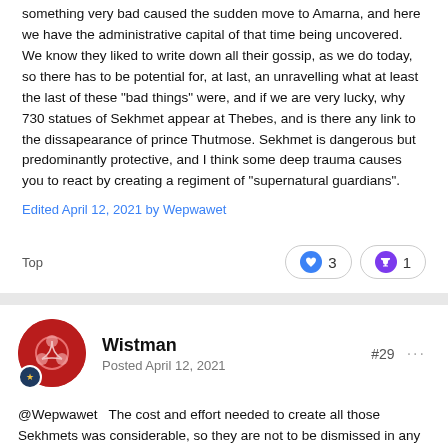something very bad caused the sudden move to Amarna, and here we have the administrative capital of that time being uncovered. We know they liked to write down all their gossip, as we do today, so there has to be potential for, at last, an unravelling what at least the last of these "bad things" were, and if we are very lucky, why 730 statues of Sekhmet appear at Thebes, and is there any link to the dissapearance of prince Thutmose. Sekhmet is dangerous but predominantly protective, and I think some deep trauma causes you to react by creating a regiment of "supernatural guardians".
Edited April 12, 2021 by Wepwawet
Top
3
1
Wistman
Posted April 12, 2021
#29
@Wepwawet   The cost and effort needed to create all those Sekhmets was considerable, so they are not to be dismissed in any respect.  And